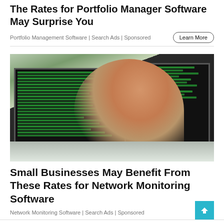The Rates for Portfolio Manager Software May Surprise You
Portfolio Management Software | Search Ads | Sponsored
[Figure (photo): Woman with glasses smiling at camera while sitting in front of two monitors showing code/terminal output, at a desk in an office environment]
Small Businesses May Benefit From These Rates for Network Monitoring Software
Network Monitoring Software | Search Ads | Sponsored